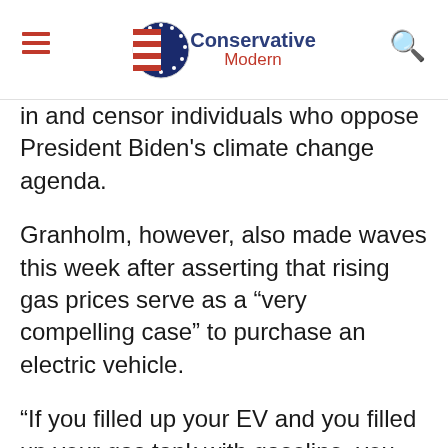Conservative Modern
in and censor individuals who oppose President Biden's climate change agenda.
Granholm, however, also made waves this week after asserting that rising gas prices serve as a “very compelling case” to purchase an electric vehicle.
“If you filled up your EV and you filled up your gas tank with gasoline, you would save $60 per fill-up by going electric rather than using gasoline but it’s a very compelling case, but again, we want to bring down the price at